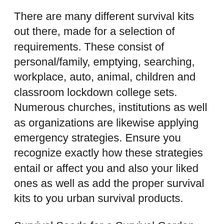There are many different survival kits out there, made for a selection of requirements. These consist of personal/family, emptying, searching, workplace, auto, animal, children and classroom lockdown college sets. Numerous churches, institutions as well as organizations are likewise applying emergency strategies. Ensure you recognize exactly how these strategies entail or affect you and also your liked ones as well as add the proper survival kits to you urban survival products.
Survival Seeds for a Survival Garden.
I simply like to plant some vegetables annually as well as taste those fresh veggies right from the garden. I am sure that I am...